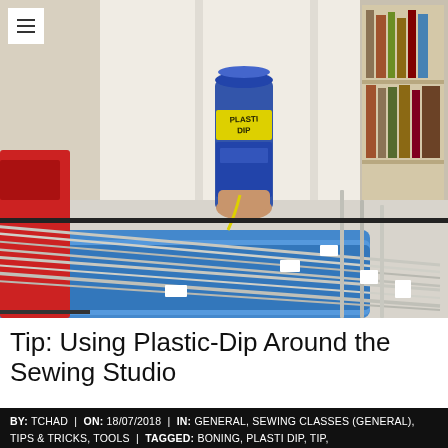[Figure (photo): Photo of sewing studio tools: boning strips laid across blue plastic trays, a red fabric garment partly visible on the left, a can of Plasti Dip product in the background center, and a bookshelf with books in the background right.]
Tip: Using Plastic-Dip Around the Sewing Studio
BY: TCHAD | ON: 18/07/2018 | IN: GENERAL, SEWING CLASSES (GENERAL), TIPS & TRICKS, TOOLS | TAGGED: BONING, PLASTI DIP, TIP,